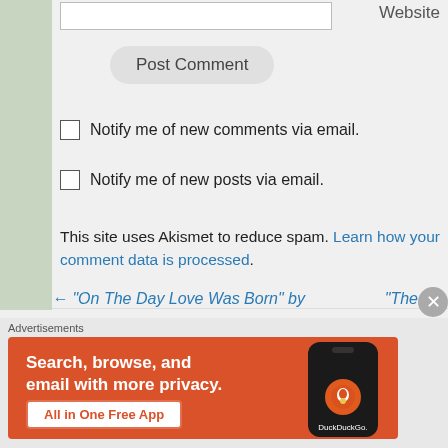Website
Post Comment
Notify me of new comments via email.
Notify me of new posts via email.
This site uses Akismet to reduce spam. Learn how your comment data is processed.
← “On The Day Love Was Born” by
“The
Advertisements
[Figure (screenshot): DuckDuckGo advertisement banner with orange background showing a phone, text 'Search, browse, and email with more privacy.' and button 'All in One Free App']